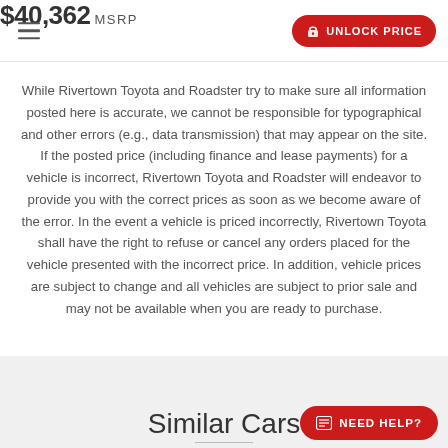$40,362 MSRP | UNLOCK PRICE
While Rivertown Toyota and Roadster try to make sure all information posted here is accurate, we cannot be responsible for typographical and other errors (e.g., data transmission) that may appear on the site. If the posted price (including finance and lease payments) for a vehicle is incorrect, Rivertown Toyota and Roadster will endeavor to provide you with the correct prices as soon as we become aware of the error. In the event a vehicle is priced incorrectly, Rivertown Toyota shall have the right to refuse or cancel any orders placed for the vehicle presented with the incorrect price. In addition, vehicle prices are subject to change and all vehicles are subject to prior sale and may not be available when you are ready to purchase.
Similar Cars